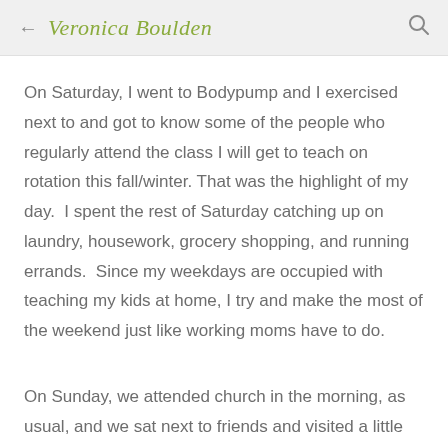← Veronica Boulden 🔍
On Saturday, I went to Bodypump and I exercised next to and got to know some of the people who regularly attend the class I will get to teach on rotation this fall/winter. That was the highlight of my day.  I spent the rest of Saturday catching up on laundry, housework, grocery shopping, and running errands.  Since my weekdays are occupied with teaching my kids at home, I try and make the most of the weekend just like working moms have to do.
On Sunday, we attended church in the morning, as usual, and we sat next to friends and visited a little